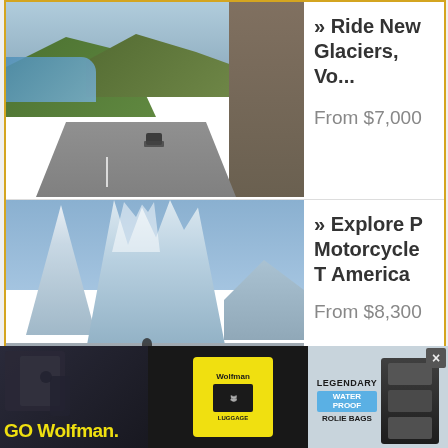[Figure (photo): Motorcycle riding on a winding road along a cliff edge with a lake and green hills in background]
» Ride New Zealand - Glaciers, Volcanoes...
From $7,000
[Figure (photo): Motorcyclist riding toward dramatic jagged snow-capped mountain peaks on a flat road in Patagonia]
» Explore Patagonia - Motorcycle Tour South America
From $8,300
[Figure (photo): Wolfman luggage advertisement banner: GO Wolfman. with logo and LEGENDARY WATER PROOF ROLIE BAGS products]